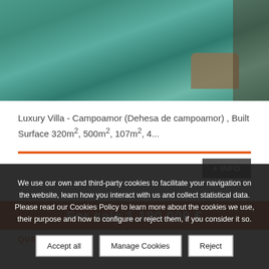[Figure (photo): Swimming pool with water feature and stone elements, teal/turquoise water]
Luxury Villa - Campoamor (Dehesa de campoamor) , Built Surface 320m², 500m², 107m², 4...
For sale 1.190.000 €
QUESTION?
We use our own and third-party cookies to facilitate your navigation on the website, learn how you interact with us and collect statistical data. Please read our Cookies Policy to learn more about the cookies we use, their purpose and how to configure or reject them, if you consider it so.
Accept all | Manage Cookies | Reject